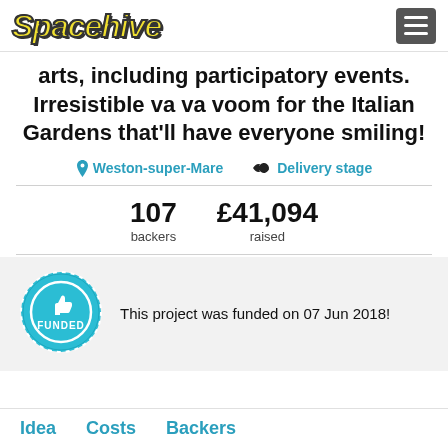Spacehive
arts, including participatory events. Irresistible va va voom for the Italian Gardens that'll have everyone smiling!
Weston-super-Mare   Delivery stage
107 backers   £41,094 raised
[Figure (other): Circular blue FUNDED badge/seal with thumbs up icon in the center]
This project was funded on 07 Jun 2018!
Idea   Costs   Backers